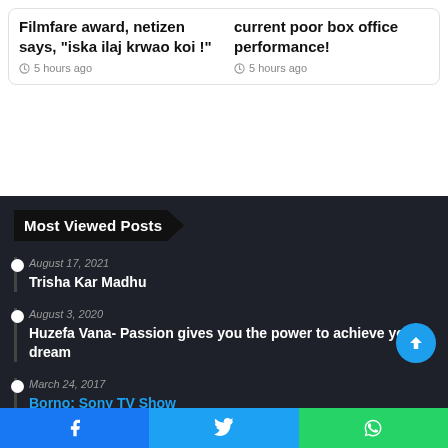Filmfare award, netizen says, "iska ilaj krwao koi !"
5 hours ago
current poor box office performance!
5 hours ago
Most Viewed Posts
August 17, 2021
Trisha Kar Madhu
August 3, 2020
Huzefa Vana- Passion gives you the power to achieve your dream
March 24, 2017
Borno: Sony TV Show